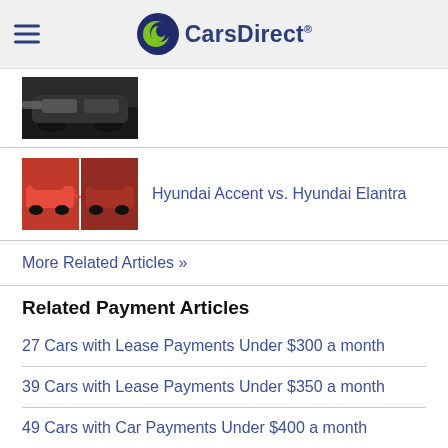CarsDirect
[Figure (photo): Cropped photo of a dark car, partial view showing front/side]
[Figure (photo): Two red cars side by side with 'vs.' text overlay - Hyundai Accent vs Hyundai Elantra comparison image]
Hyundai Accent vs. Hyundai Elantra
More Related Articles »
Related Payment Articles
27 Cars with Lease Payments Under $300 a month
39 Cars with Lease Payments Under $350 a month
49 Cars with Car Payments Under $400 a month
Comments